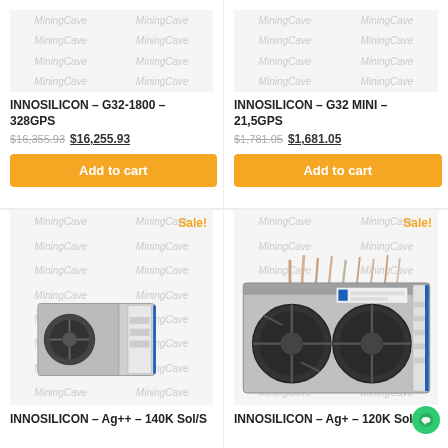[Figure (photo): INNOSILICON G32-1800 mining device with watermark overlay (top-left card, image area)]
INNOSILICON – G32-1800 – 328GPS
$16,355.93 $16,255.93
Add to cart
[Figure (photo): INNOSILICON G32 MINI mining device with watermark overlay (top-right card, image area)]
INNOSILICON – G32 MINI – 21,5GPS
$1,781.05 $1,681.05
Add to cart
[Figure (photo): INNOSILICON Ag++ mining device photo with watermark overlay and Sale! badge]
INNOSILICON – Ag++ – 140K Sol/S
[Figure (photo): INNOSILICON Ag+ mining device photo with watermark overlay and Sale! badge]
INNOSILICON – Ag+ – 120K Sol/S